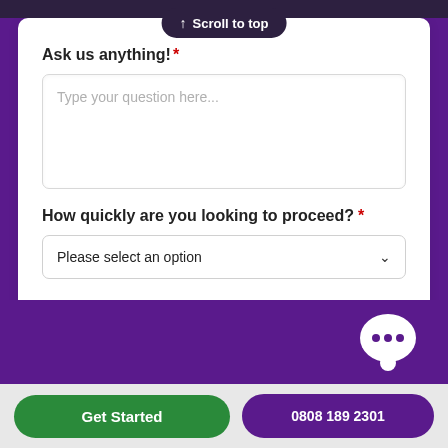[Figure (screenshot): Scroll to top button overlay at the top of the page]
Ask us anything! *
Type your question here...
How quickly are you looking to proceed? *
Please select an option
1 of 3
Next
[Figure (illustration): Green chat bubble icon with three dots]
Get Started
0808 189 2301